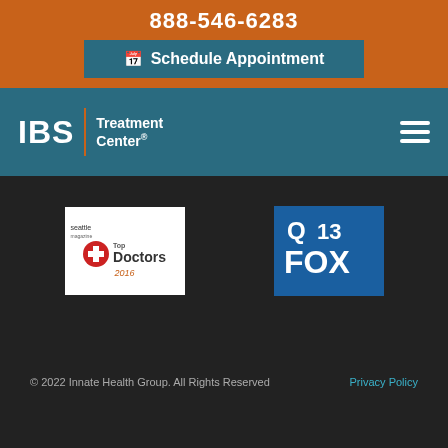888-546-6283
Schedule Appointment
[Figure (logo): IBS Treatment Center logo with orange divider bar and white text on teal/blue background]
[Figure (logo): Hamburger menu icon (three horizontal lines) on teal background]
[Figure (logo): Seattle magazine Top Doctors 2016 badge with red cross icon]
[Figure (logo): Q13 FOX news logo in blue and white]
© 2022 Innate Health Group. All Rights Reserved   Privacy Policy